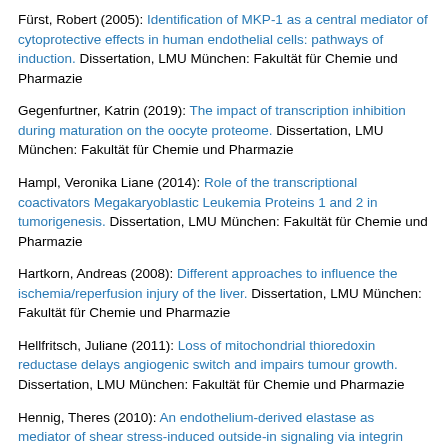Fürst, Robert (2005): Identification of MKP-1 as a central mediator of cytoprotective effects in human endothelial cells: pathways of induction. Dissertation, LMU München: Fakultät für Chemie und Pharmazie
Gegenfurtner, Katrin (2019): The impact of transcription inhibition during maturation on the oocyte proteome. Dissertation, LMU München: Fakultät für Chemie und Pharmazie
Hampl, Veronika Liane (2014): Role of the transcriptional coactivators Megakaryoblastic Leukemia Proteins 1 and 2 in tumorigenesis. Dissertation, LMU München: Fakultät für Chemie und Pharmazie
Hartkorn, Andreas (2008): Different approaches to influence the ischemia/reperfusion injury of the liver. Dissertation, LMU München: Fakultät für Chemie und Pharmazie
Hellfritsch, Juliane (2011): Loss of mitochondrial thioredoxin reductase delays angiogenic switch and impairs tumour growth. Dissertation, LMU München: Fakultät für Chemie und Pharmazie
Hennig, Theres (2010): An endothelium-derived elastase as mediator of shear stress-induced outside-in signaling via integrin alphavbeta3. Dissertation, LMU München: Fakultät für Chemie und Pharmazie
Hoffmann, Florian (2007): Decoy gelatin nanoparticles as a novel tool to elucidate the role of NF-kB in Kupffer cells on hepatic ischemia/reperfusion injury. Dissertation, LMU München: Fakultät für Chemie und Pharmazie